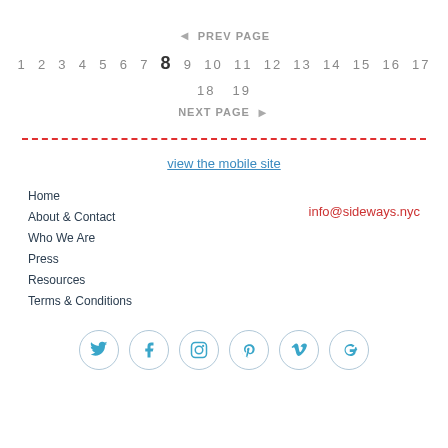◄ PREV PAGE
1 2 3 4 5 6 7 8 9 10 11 12 13 14 15 16 17 18 19
NEXT PAGE ►
view the mobile site
Home
About & Contact
Who We Are
Press
Resources
Terms & Conditions
info@sideways.nyc
[Figure (infographic): Row of 6 social media icons in circles: Twitter, Facebook, Instagram, Pinterest, Vimeo, Google+]